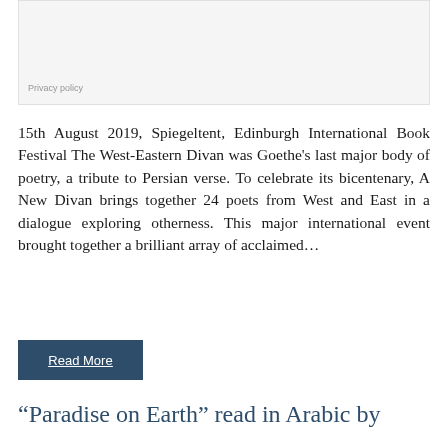[Figure (other): Gray box representing a form or content area with a Privacy policy label at the bottom]
Privacy policy
15th August 2019, Spiegeltent, Edinburgh International Book Festival The West-Eastern Divan was Goethe's last major body of poetry, a tribute to Persian verse. To celebrate its bicentenary, A New Divan brings together 24 poets from West and East in a dialogue exploring otherness. This major international event brought together a brilliant array of acclaimed…
Read More
“Paradise on Earth” read in Arabic by